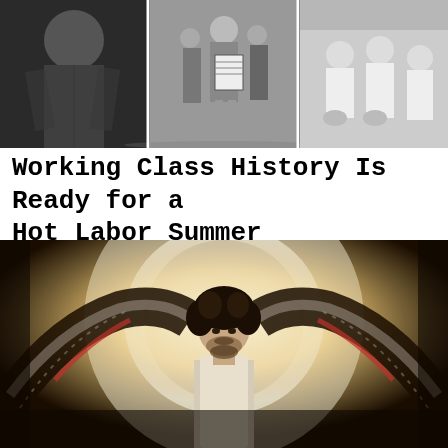[Figure (photo): Black and white collage of three historical photographs showing labor/protest scenes: left photo shows a person in a heavy coat, center photo shows a woman holding a sign with people in the background, right photo shows men in white shirts seated]
Working Class History Is Ready for a Hot Labor Summer
[Figure (photo): Color photograph of a man with dark curly hair and beard, wearing a crocheted black and white patterned shawl/blanket, arms outstretched, with white fabric flowing behind him in a circular shape, warm backlit tones]